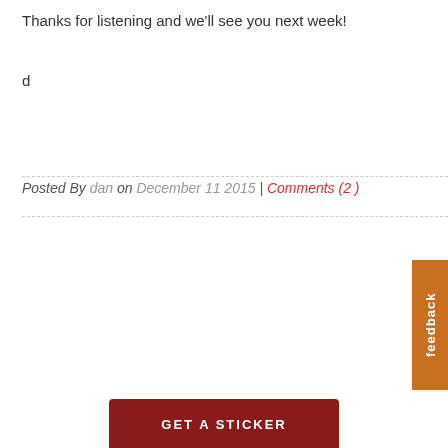Thanks for listening and we'll see you next week!
d
Posted By dan on December 11 2015 | Comments (2 )
[Figure (other): Orange feedback tab on the right side of the page]
GET A STICKER